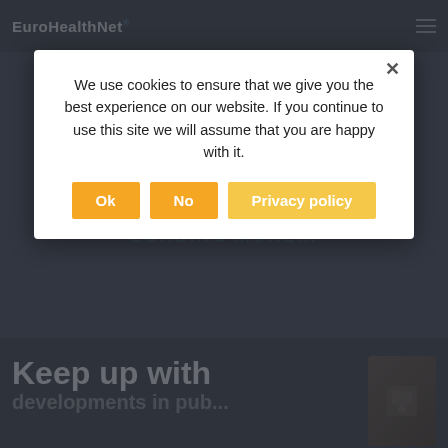EuroHealthNet
departments
LOADING MORE...
We use cookies to ensure that we give you the best experience on our website. If you continue to use this site we will assume that you are happy with it.
Ok | No | Privacy policy
Keep up with developments in pub...